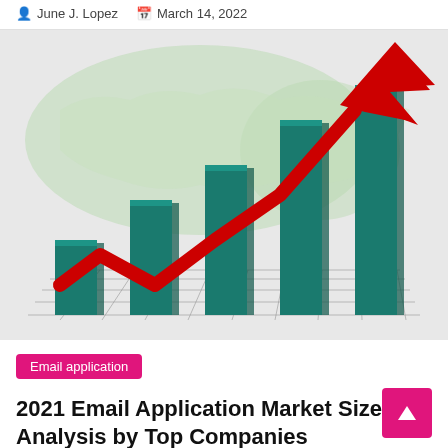June J. Lopez   March 14, 2022
[Figure (illustration): 3D bar chart with teal/green bars of increasing height on a grid floor with a world map background, overlaid with a bold red upward-trending zigzag arrow indicating market growth.]
Email application
2021 Email Application Market Size Analysis by Top Companies